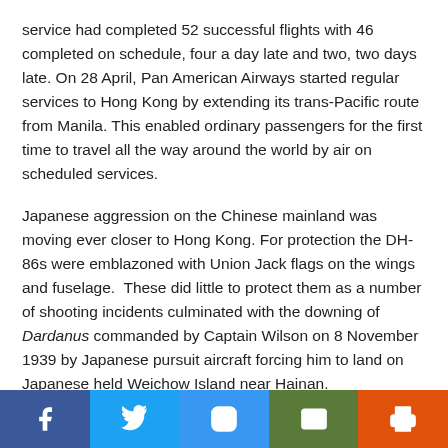service had completed 52 successful flights with 46 completed on schedule, four a day late and two, two days late. On 28 April, Pan American Airways started regular services to Hong Kong by extending its trans-Pacific route from Manila. This enabled ordinary passengers for the first time to travel all the way around the world by air on scheduled services.
Japanese aggression on the Chinese mainland was moving ever closer to Hong Kong. For protection the DH-86s were emblazoned with Union Jack flags on the wings and fuselage.  These did little to protect them as a number of shooting incidents culminated with the downing of Dardanus commanded by Captain Wilson on 8 November 1939 by Japanese pursuit aircraft forcing him to land on Japanese held Weichow Island near Hainan.
Meanwhile, war in Europe had been declared, Imperial